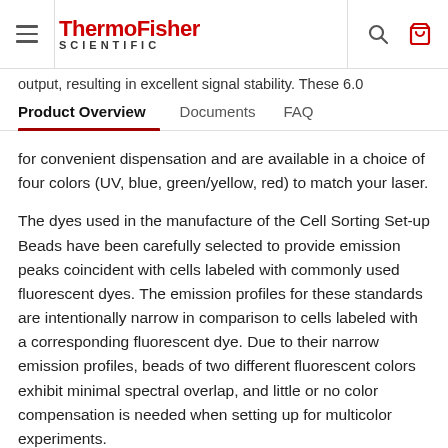ThermoFisher SCIENTIFIC
output, resulting in excellent signal stability. These 6.0
Product Overview | Documents | FAQ
for convenient dispensation and are available in a choice of four colors (UV, blue, green/yellow, red) to match your laser.
The dyes used in the manufacture of the Cell Sorting Set-up Beads have been carefully selected to provide emission peaks coincident with cells labeled with commonly used fluorescent dyes. The emission profiles for these standards are intentionally narrow in comparison to cells labeled with a corresponding fluorescent dye. Due to their narrow emission profiles, beads of two different fluorescent colors exhibit minimal spectral overlap, and little or no color compensation is needed when setting up for multicolor experiments.